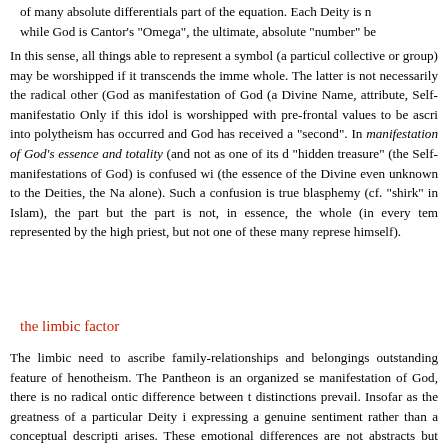of many absolute differentials part of the equation. Each Deity is n while God is Cantor's "Omega", the ultimate, absolute "number" be
In this sense, all things able to represent a symbol (a particul collective or group) may be worshipped if it transcends the imme whole. The latter is not necessarily the radical other (God as manifestation of God (a Divine Name, attribute, Self-manifestatio Only if this idol is worshipped with pre-frontal values to be ascri into polytheism has occurred and God has received a "second". In manifestation of God's essence and totality (and not as one of its d "hidden treasure" (the Self-manifestations of God) is confused wi (the essence of the Divine even unknown to the Deities, the Na alone). Such a confusion is true blasphemy (cf. "shirk" in Islam), the part but the part is not, in essence, the whole (in every tem represented by the high priest, but not one of these many represe himself).
the limbic factor
The limbic need to ascribe family-relationships and belongings outstanding feature of henotheism. The Pantheon is an organized se manifestation of God, there is no radical ontic difference between t distinctions prevail. Insofar as the greatness of a particular Deity i expressing a genuine sentiment rather than a conceptual descripti arises. These emotional differences are not abstracts but affects arises. they belong to the One God, all others from the form.